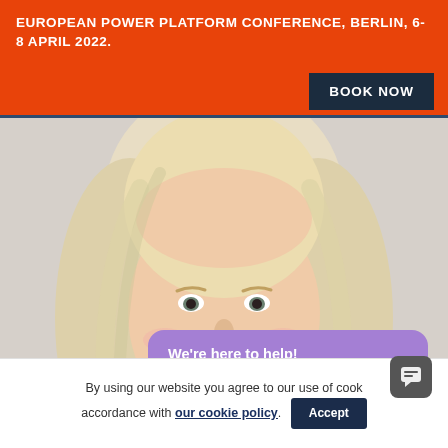EUROPEAN POWER PLATFORM CONFERENCE, BERLIN, 6-8 APRIL 2022.
BOOK NOW
[Figure (photo): Close-up photo of a smiling blonde woman used as a speaker/attendee image for the ESPC22 conference website.]
We're here to help!
Hi there! Welcome to ESPC22 :)
By using our website you agree to our use of cookies in accordance with our cookie policy.
Accept